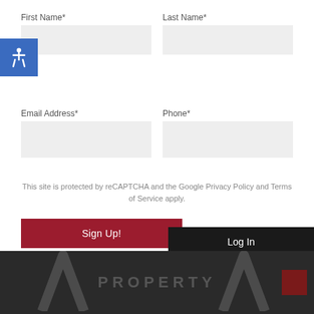First Name*
Last Name*
Email Address*
Phone*
This site is protected by reCAPTCHA and the Google Privacy Policy and Terms of Service apply.
Sign Up!
Log In
PROPERTY